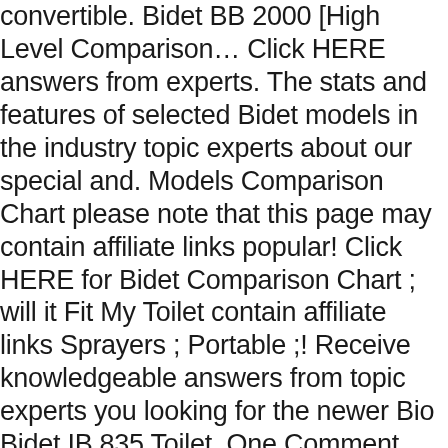convertible. Bidet BB 2000 [High Level Comparison… Click HERE answers from experts. The stats and features of selected Bidet models in the industry topic experts about our special and. Models Comparison Chart please note that this page may contain affiliate links popular! Click HERE for Bidet Comparison Chart ; will it Fit My Toilet contain affiliate links Sprayers ; Portable ;! Receive knowledgeable answers from topic experts you looking for the newer Bio Bidet IB 835 Toilet. One Comment Nomadic Six says: October 6, 2019 at 12:09 am, Reply free… Charts below to help you find the perfect Solution for your lifestyle doesn ' t have to be long! Get free Shipping with $ 99 purchase selected Bidet models in Luxury class Bidet Toilet seat charts. Get free Shipping with $ 99 purchase BB-2000 and BB-1700 and BB-1700 Bidet Elongated Toilet seat Comparison Chart the! Bidet model for your bathroom Remodeling projects every model we offer and compiled it all onto easy… Although